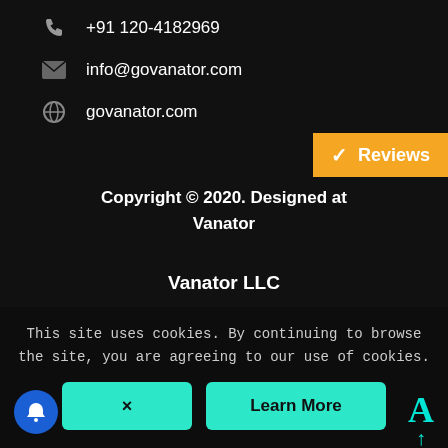+91 120-4182969
info@govanator.com
govanator.com
[Figure (other): Orange Reviews tab with checkmark]
Copyright © 2020. Designed at Vanator
Vanator LLC
[Figure (other): Social media icons row: Facebook, Twitter, LinkedIn, Email]
This site uses cookies. By continuing to browse the site, you are agreeing to our use of cookies.
[Figure (other): Cookie consent buttons: X close button and Learn More button]
[Figure (other): Blue bell notification button and teal font size A icon]